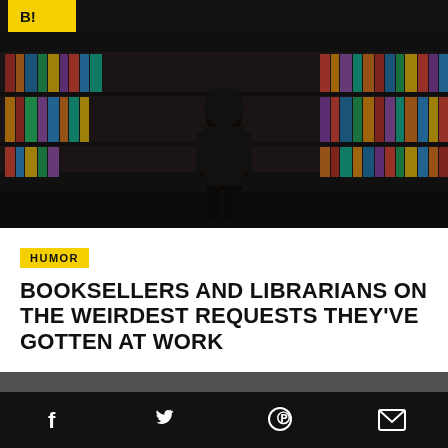Book Riot logo
[Figure (photo): A person in a dark bookstore standing at a counter with a laptop, surrounded by bookshelves filled with colorful books]
HUMOR
BOOKSELLERS AND LIBRARIANS ON THE WEIRDEST REQUESTS THEY'VE GOTTEN AT WORK
Chelsea Hensley  |  Sep 15, 2017
Social share icons: Facebook, Twitter, Pinterest, Email